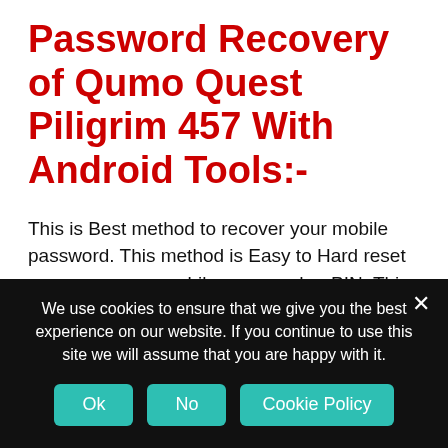Password Recovery of Qumo Quest Piligrim 457 With Android Tools:-
This is Best method to recover your mobile password. This method is Easy to Hard reset or recover your mobile password or PIN. This method is only works on android mobiles only. First you need a basic knowledge about computer and software installation. Follow below
We use cookies to ensure that we give you the best experience on our website. If you continue to use this site we will assume that you are happy with it.